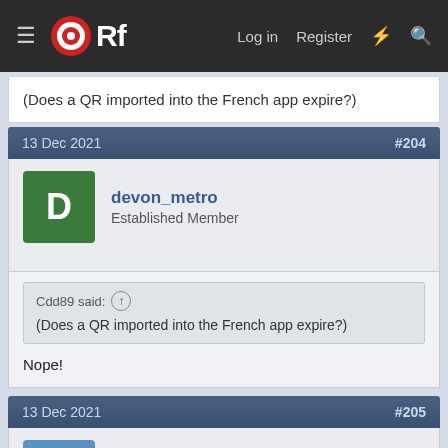ORf — Log in  Register
(Does a QR imported into the French app expire?)
13 Dec 2021   #204
devon_metro
Established Member
Cdd89 said: ↑
(Does a QR imported into the French app expire?)
Nope!
13 Dec 2021   #205
danm14
Member